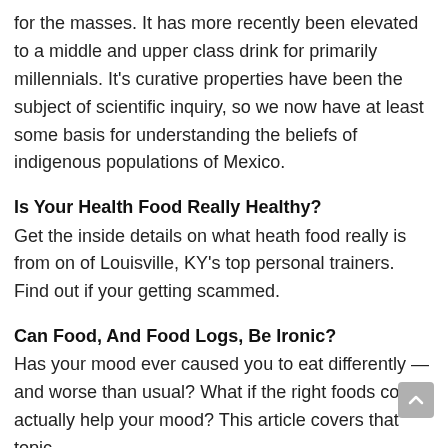for the masses. It has more recently been elevated to a middle and upper class drink for primarily millennials. It's curative properties have been the subject of scientific inquiry, so we now have at least some basis for understanding the beliefs of indigenous populations of Mexico.
Is Your Health Food Really Healthy?
Get the inside details on what heath food really is from on of Louisville, KY's top personal trainers. Find out if your getting scammed.
Can Food, And Food Logs, Be Ironic?
Has your mood ever caused you to eat differently — and worse than usual? What if the right foods could actually help your mood? This article covers that topic.